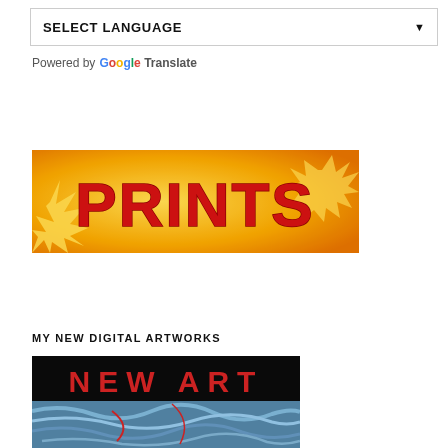[Figure (screenshot): SELECT LANGUAGE dropdown box with arrow]
Powered by Google Translate
[Figure (illustration): PRINTS banner image with bold red text on yellow starburst background]
MY NEW DIGITAL ARTWORKS
[Figure (illustration): NEW ART banner image with red text on black background, with blue swirling art below]